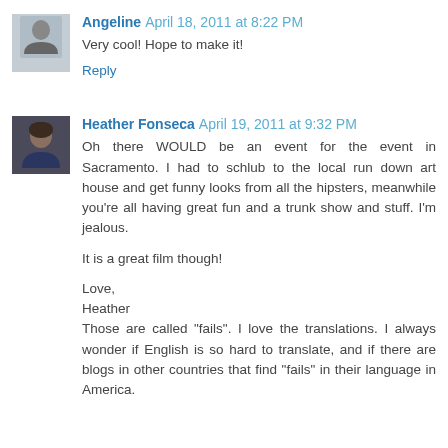Angeline  April 18, 2011 at 8:22 PM
Very cool! Hope to make it!
Reply
Heather Fonseca  April 19, 2011 at 9:32 PM
Oh there WOULD be an event for the event in Sacramento. I had to schlub to the local run down art house and get funny looks from all the hipsters, meanwhile you're all having great fun and a trunk show and stuff. I'm jealous.

It is a great film though!

Love,
Heather
Those are called "fails". I love the translations. I always wonder if English is so hard to translate, and if there are blogs in other countries that find "fails" in their language in America.